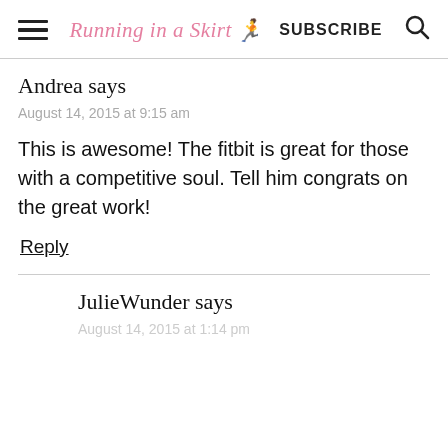Running in a Skirt  SUBSCRIBE
Andrea says
August 14, 2015 at 9:15 am
This is awesome! The fitbit is great for those with a competitive soul. Tell him congrats on the great work!
Reply
JulieWunder says
August 14, 2015 at 1:14 pm